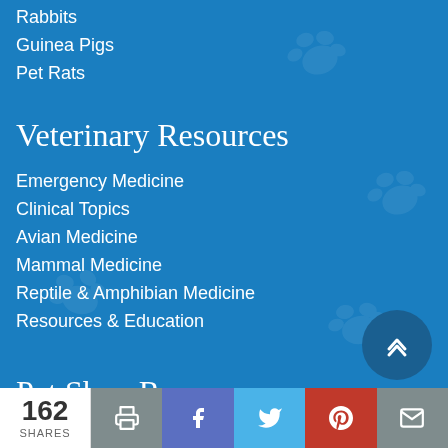Rabbits
Guinea Pigs
Pet Rats
Veterinary Resources
Emergency Medicine
Clinical Topics
Avian Medicine
Mammal Medicine
Reptile & Amphibian Medicine
Resources & Education
Pet Shop Resources
162 SHARES